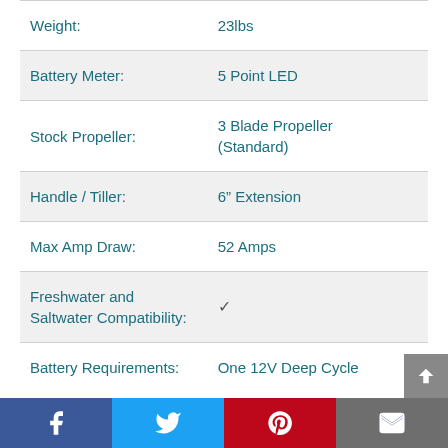| Specification | Value |
| --- | --- |
| Weight: | 23lbs |
| Battery Meter: | 5 Point LED |
| Stock Propeller: | 3 Blade Propeller (Standard) |
| Handle / Tiller: | 6" Extension |
| Max Amp Draw: | 52 Amps |
| Freshwater and Saltwater Compatibility: | ✓ |
| Battery Requirements: | One 12V Deep Cycle |
Social share bar: Facebook, Twitter, Pinterest, Email